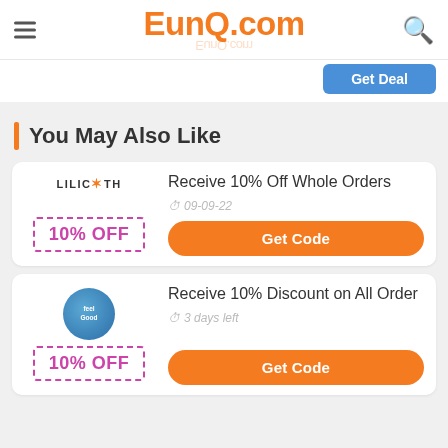EunQ.com
You May Also Like
Receive 10% Off Whole Orders
09-09-22
10% OFF
Get Code
Receive 10% Discount on All Order
3 days left
10% OFF
Get Code